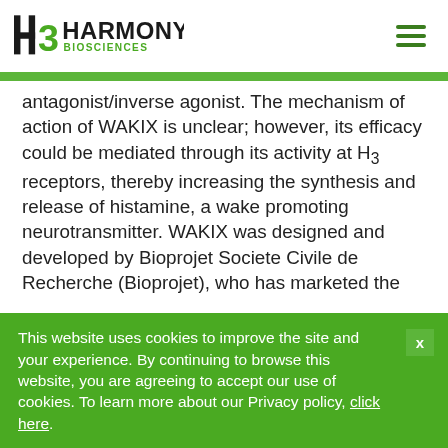Harmony Biosciences
antagonist/inverse agonist. The mechanism of action of WAKIX is unclear; however, its efficacy could be mediated through its activity at H3 receptors, thereby increasing the synthesis and release of histamine, a wake promoting neurotransmitter. WAKIX was designed and developed by Bioprojet Societe Civile de Recherche (Bioprojet), who has marketed the product in Europe since it was approved there
This website uses cookies to improve the site and your experience. By continuing to browse this website, you are agreeing to accept our use of cookies. To learn more about our Privacy policy, click here.